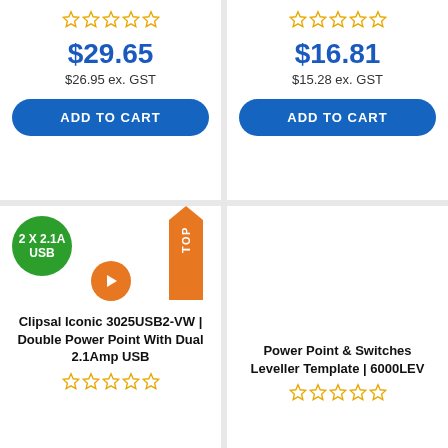$29.65
$26.95 ex. GST
ADD TO CART
$16.81
$15.28 ex. GST
ADD TO CART
2 X 2.1A USB
TOP
Clipsal Iconic 3025USB2-VW | Double Power Point With Dual 2.1Amp USB
Power Point & Switches Leveller Template | 6000LEV